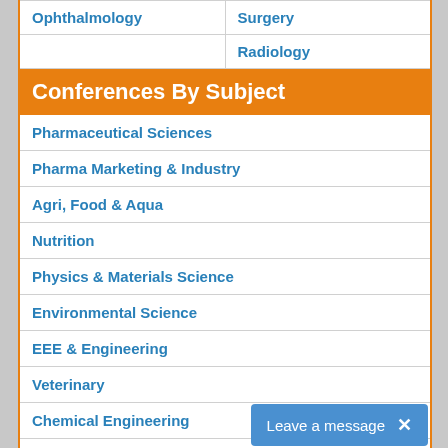| Ophthalmology | Surgery |
|  | Radiology |
Conferences By Subject
Pharmaceutical Sciences
Pharma Marketing & Industry
Agri, Food & Aqua
Nutrition
Physics & Materials Science
Environmental Science
EEE & Engineering
Veterinary
Chemical Engineering
Business Management
Massmedia
Geology & Earth science